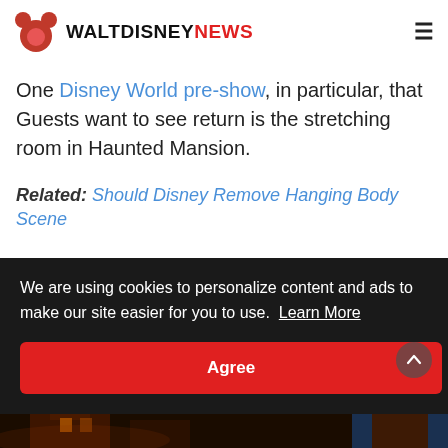WALT DISNEY NEWS
One Disney World pre-show, in particular, that Guests want to see return is the stretching room in Haunted Mansion.
Related: Should Disney Remove Hanging Body Scene
We are using cookies to personalize content and ads to make our site easier for you to use. Learn More
Agree